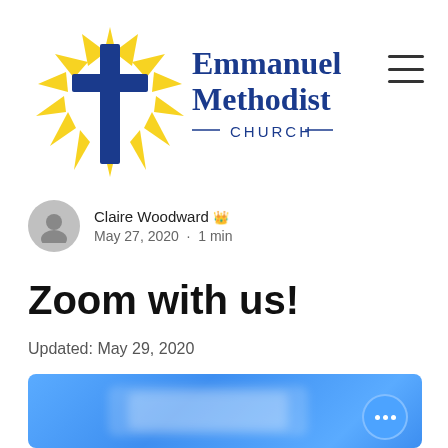[Figure (logo): Emmanuel Methodist Church logo with blue cross and yellow sunburst rays, with text 'Emmanuel Methodist CHURCH']
Claire Woodward 👑
May 27, 2020  ·  1 min
Zoom with us!
Updated: May 29, 2020
[Figure (screenshot): Blurred blue Zoom interface screenshot with a circular button showing three dots (more options)]